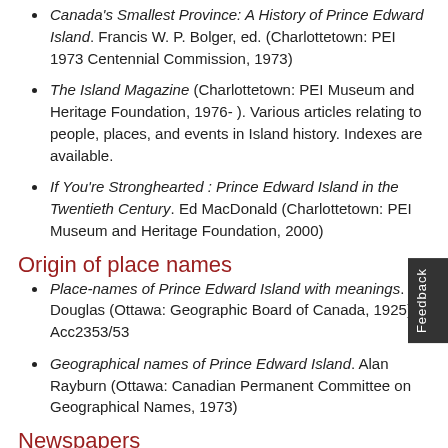Canada's Smallest Province: A History of Prince Edward Island. Francis W. P. Bolger, ed. (Charlottetown: PEI 1973 Centennial Commission, 1973)
The Island Magazine (Charlottetown: PEI Museum and Heritage Foundation, 1976- ). Various articles relating to people, places, and events in Island history. Indexes are available.
If You're Stronghearted : Prince Edward Island in the Twentieth Century. Ed MacDonald (Charlottetown: PEI Museum and Heritage Foundation, 2000)
Origin of place names
Place-names of Prince Edward Island with meanings. R. Douglas (Ottawa: Geographic Board of Canada, 1925), Acc2353/53
Geographical names of Prince Edward Island. Alan Rayburn (Ottawa: Canadian Permanent Committee on Geographical Names, 1973)
Newspapers